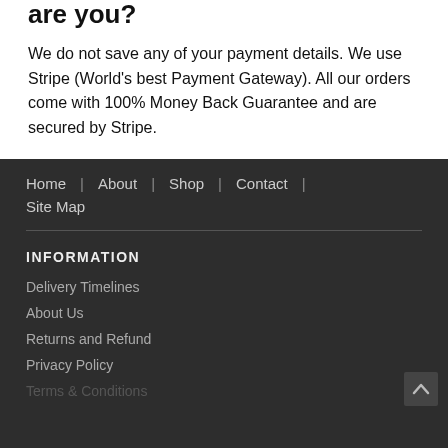are you?
We do not save any of your payment details. We use Stripe (World's best Payment Gateway). All our orders come with 100% Money Back Guarantee and are secured by Stripe.
Home | About | Shop | Contact | Site Map
INFORMATION
Delivery Timelines
About Us
Returns and Refund
Privacy Policy
Terms & Conditions